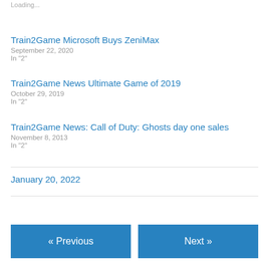Loading...
Train2Game Microsoft Buys ZeniMax
September 22, 2020
In "2"
Train2Game News Ultimate Game of 2019
October 29, 2019
In "2"
Train2Game News: Call of Duty: Ghosts day one sales
November 8, 2013
In "2"
January 20, 2022
« Previous
Next »